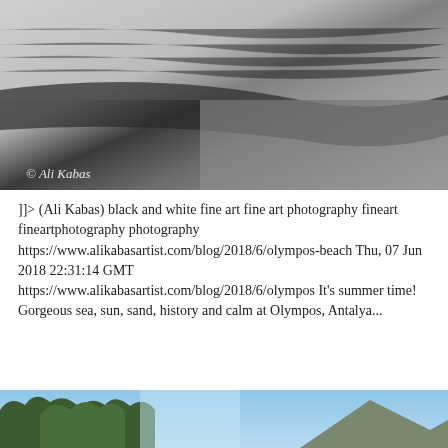[Figure (photo): Black and white fine art photograph of a beach shoreline, showing the meeting of water (rippled texture, lighter tones) and pebbled/sandy shore (darker, grainy texture). Watermark '© Ali Kabas' in lower left.]
]]> (Ali Kabas) black and white fine art fine art photography fineart fineartphotography photography https://www.alikabasartist.com/blog/2018/6/olympos-beach Thu, 07 Jun 2018 22:31:14 GMT https://www.alikabasartist.com/blog/2018/6/olympos It's summer time! Gorgeous sea, sun, sand, history and calm at Olympos, Antalya...
[Figure (photo): Color photograph showing pine trees in the foreground with a blue sky and mountainous terrain in the background. Partially visible, cropped at the bottom of the page.]